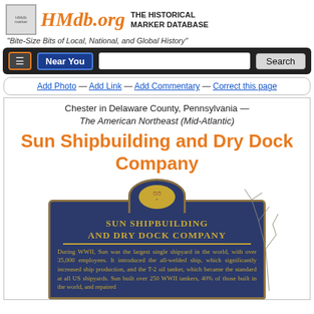HMdb.org THE HISTORICAL MARKER DATABASE
"Bite-Size Bits of Local, National, and Global History"
Add Photo — Add Link — Add Commentary — Correct this page
Chester in Delaware County, Pennsylvania — The American Northeast (Mid-Atlantic)
Sun Shipbuilding and Dry Dock Company
[Figure (photo): Blue and gold historical marker for Sun Shipbuilding and Dry Dock Company, with Pennsylvania state crest at top. Text on marker reads: During WWII, Sun was the largest single shipyard in the world, with over 35,000 employees. It introduced the all-welded ship, which significantly increased ship production, and the T-2 oil tanker, which became the standard at all US shipyards. Sun built over 250 WWII tankers, 40% of those built in the world, and repaired...]